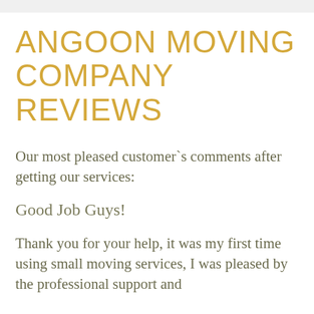ANGOON MOVING COMPANY REVIEWS
Our most pleased customer`s comments after getting our services:
Good Job Guys!
Thank you for your help, it was my first time using small moving services, I was pleased by the professional support and